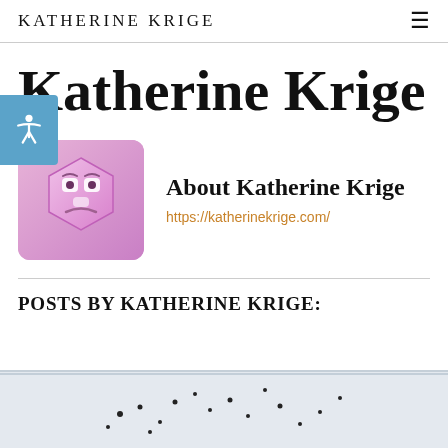KATHERINE KRIGE
Katherine Krige
[Figure (illustration): Profile avatar showing a sad-faced pink hexagonal emoji character on a gradient purple-pink background, with rounded square crop]
About Katherine Krige
https://katherinekrige.com/
POSTS BY KATHERINE KRIGE:
[Figure (other): Partial view of an image with scattered black dots on a light grey/blue background, cropped at the bottom of the page]